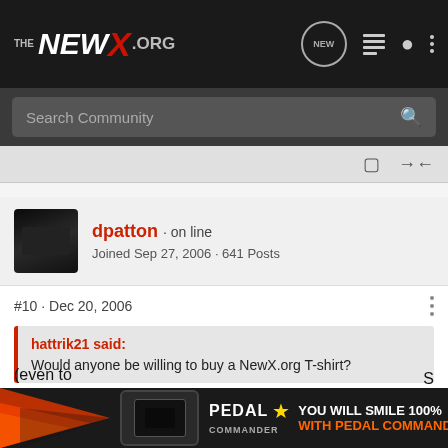THE NEWX.ORG
Search Community
dpatton · on line
Joined Sep 27, 2006 · 641 Posts
#10 · Dec 20, 2006
hattrik21 said:
Would anyone be willing to buy a NewX.org T-shirt?
If the design is something I like, and if it doesn't "cost too much". Often when things like T-Shirts are done "in the USA" it costs al... S (even to...
[Figure (infographic): Pedal Commander advertisement banner with orange arrow graphic, device, logo, and text YOU WILL SMILE 100% WITH PEDAL COMMANDER]